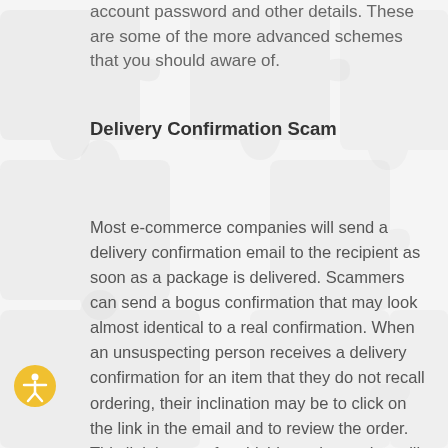account password and other details. These are some of the more advanced schemes that you should aware of.
Delivery Confirmation Scam
Most e-commerce companies will send a delivery confirmation email to the recipient as soon as a package is delivered. Scammers can send a bogus confirmation that may look almost identical to a real confirmation. When an unsuspecting person receives a delivery confirmation for an item that they do not recall ordering, their inclination may be to click on the link in the email and to review the order. This link is part of a phishing scheme that will collect your user ID and password for the account. If you receive a delivery confirmation email like this, avoid clicking the link. Always check on the order status through the app or by directly typing in the company's URL before logging in.